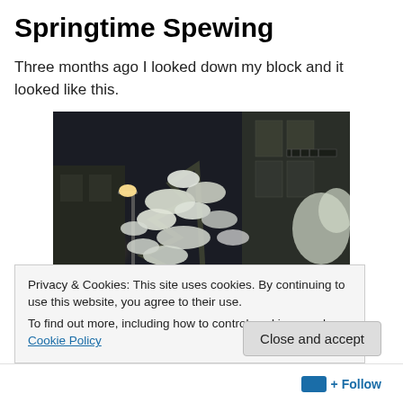Springtime Spewing
Three months ago I looked down my block and it looked like this.
[Figure (photo): Nighttime street scene with snow-covered trees illuminated by a street lamp, urban buildings visible on the right side, monochromatic/sepia tone]
Privacy & Cookies: This site uses cookies. By continuing to use this website, you agree to their use.
To find out more, including how to control cookies, see here: Cookie Policy
Close and accept